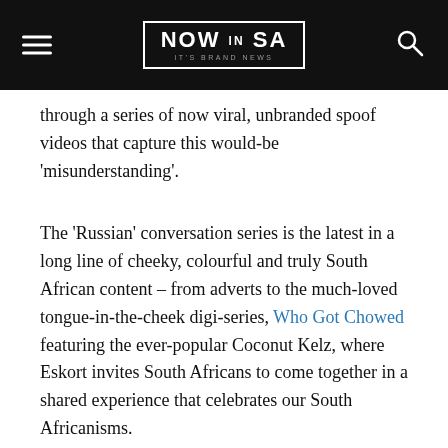NOW IN SA — IT'S BRAND NEWS
through a series of now viral, unbranded spoof videos that capture this would-be 'misunderstanding'.
The 'Russian' conversation series is the latest in a long line of cheeky, colourful and truly South African content – from adverts to the much-loved tongue-in-the-cheek digi-series, Who Got Chowed featuring the ever-popular Coconut Kelz, where Eskort invites South Africans to come together in a shared experience that celebrates our South Africanisms.